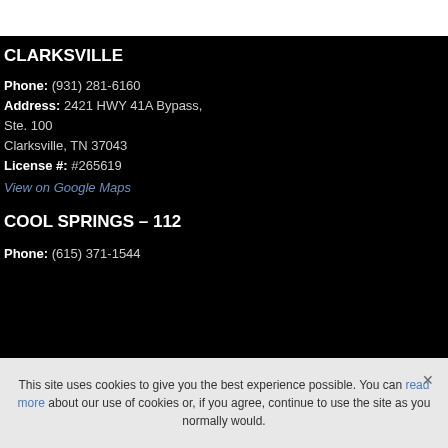CLARKSVILLE
Phone: (931) 281-6160
Address: 2421 HWY 41A Bypass,
Ste. 100
Clarksville, TN 37043
License #: #265619
View on Google Maps
COOL SPRINGS – 112
Phone: (615) 371-1544
This site uses cookies to give you the best experience possible. You can read more about our use of cookies or, if you agree, continue to use the site as you normally would.